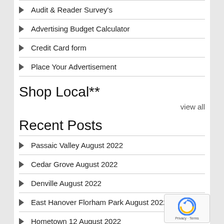Audit & Reader Survey's
Advertising Budget Calculator
Credit Card form
Place Your Advertisement
Shop Local**
view all
Recent Posts
Passaic Valley August 2022
Cedar Grove August 2022
Denville August 2022
East Hanover Florham Park August 2022
Hometown 12 August 2022